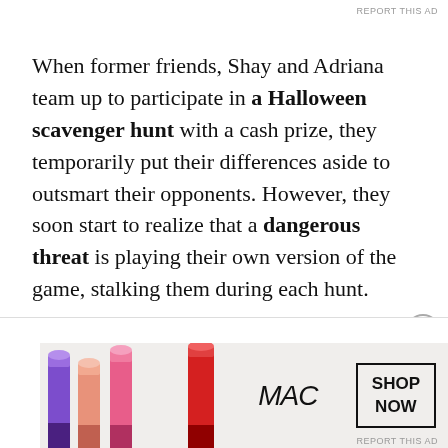REPORT THIS AD
When former friends, Shay and Adriana team up to participate in a Halloween scavenger hunt with a cash prize, they temporarily put their differences aside to outsmart their opponents. However, they soon start to realize that a dangerous threat is playing their own version of the game, stalking them during each hunt.

Winning is now a necessity as their lives are at stake. As old wounds and memories re
[Figure (illustration): MAC cosmetics advertisement showing colorful lipsticks (purple, peach, pink, red) alongside the MAC logo in italic script and a 'SHOP NOW' box with border.]